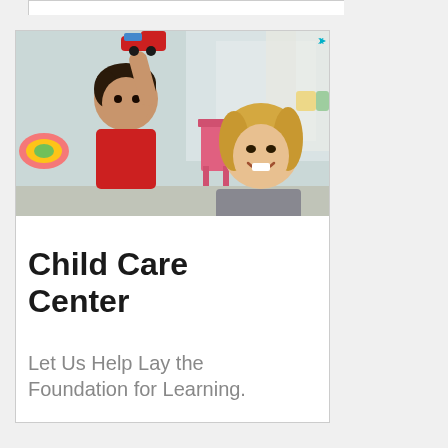[Figure (photo): A young child holding up a red toy airplane with a smiling blonde adult (teacher) in the background in a bright classroom setting.]
Child Care Center
Let Us Help Lay the Foundation for Learning.